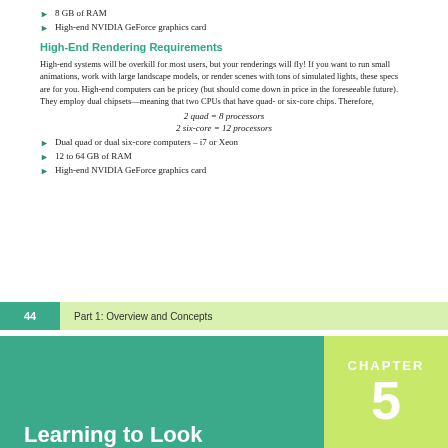8 GB of RAM
High-end NVIDIA GeForce graphics card
High-End Rendering Requirements
High-end systems will be overkill for most users, but your renderings will fly! If you want to run small animations, work with large landscape models, or render scenes with tons of simulated lights, these specs are for you. High-end computers can be pricey (but should come down in price in the foreseeable future). They employ dual chipsets—meaning that two CPUs that have quad- or six-core chips. Therefore,
Dual quad or dual six-core computers – i7 or Xeon
12 to 64 GB of RAM
High-end NVIDIA GeForce graphics card
44    Part 1: Overview and Concepts
Learning to Look
CHAPTER 5